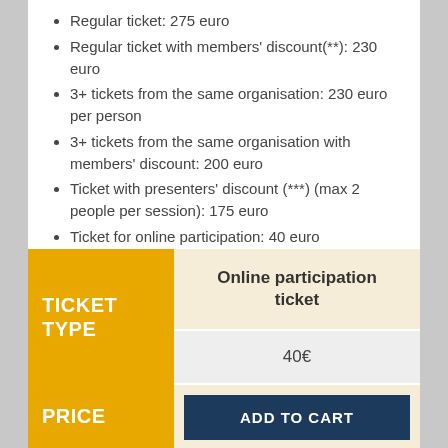Regular ticket: 275 euro
Regular ticket with members' discount(**): 230 euro
3+ tickets from the same organisation: 230 euro per person
3+ tickets from the same organisation with members' discount: 200 euro
Ticket with presenters' discount (***) (max 2 people per session): 175 euro
Ticket for online participation: 40 euro
| TICKET TYPE | Online participation ticket |
| --- | --- |
| PRICE | 40€ |
|  | ADD TO CART |